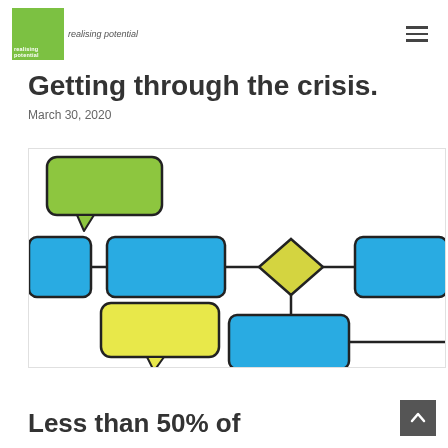realising potential
Getting through the crisis.
March 30, 2020
[Figure (flowchart): A process flowchart with blue rounded rectangles connected by lines, a yellow diamond decision node, a green speech bubble shape at top, and a yellow speech bubble shape at bottom left.]
Less than 50% of